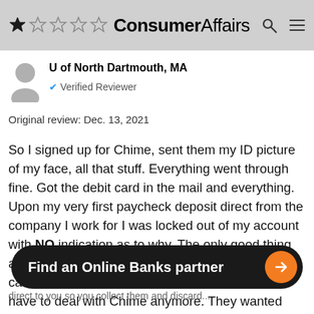[Figure (screenshot): ConsumerAffairs website header with 1 out of 5 stars rating and navigation icons]
U of North Dartmouth, MA
✔ Verified Reviewer
Original review: Dec. 13, 2021
So I signed up for Chime, sent them my ID picture of my face, all that stuff. Everything went through fine. Got the debit card in the mail and everything. Upon my very first paycheck deposit direct from the company I work for I was locked out of my account with NO indication as to why. The only good thing about this experience is that the deposit was canceled and sent back to the sender so I didn't have to deal with Chime anymore. They wanted
Find an Online Banks partner